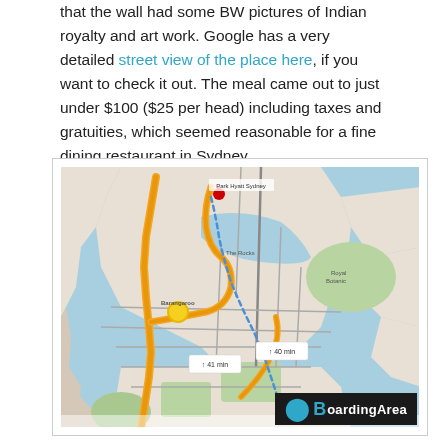that the wall had some BW pictures of Indian royalty and art work. Google has a very detailed street view of the place here, if you want to check it out. The meal came out to just under $100 ($25 per head) including taxes and gratuities, which seemed reasonable for a fine dining restaurant in Sydney.
[Figure (map): Google Maps street map of Sydney, Australia showing a route marked with a blue dotted line and orange highlighted roads. A red pin marks a location near the top (Park Hyatt Sydney area). The map shows harbour areas, roads, and green parkland.]